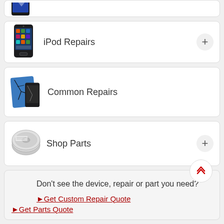[Figure (illustration): Partial card showing top of a device image (cropped at top of page)]
iPod Repairs
Common Repairs
Shop Parts
Don't see the device, repair or part you need?
►Get Custom Repair Quote
►Get Parts Quote